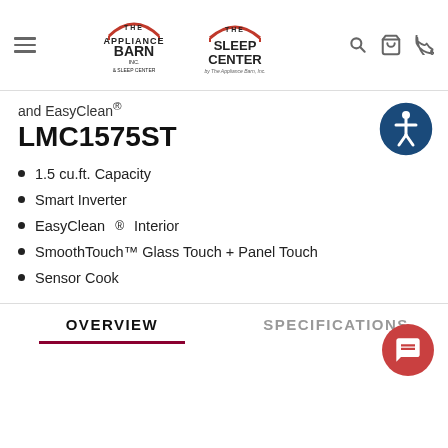The Appliance Barn & Sleep Center / The Sleep Center by The Appliance Barn, Inc.
and EasyClean®
LMC1575ST
1.5 cu.ft. Capacity
Smart Inverter
EasyClean® Interior
SmoothTouch™ Glass Touch + Panel Touch
Sensor Cook
OVERVIEW
SPECIFICATIONS